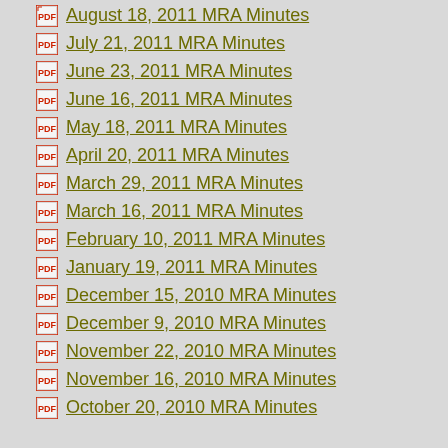August 18, 2011 MRA Minutes
July 21, 2011 MRA Minutes
June 23, 2011 MRA Minutes
June 16, 2011 MRA Minutes
May 18, 2011 MRA Minutes
April 20, 2011 MRA Minutes
March 29, 2011 MRA Minutes
March 16, 2011 MRA Minutes
February 10, 2011 MRA Minutes
January 19, 2011 MRA Minutes
December 15, 2010 MRA Minutes
December 9, 2010 MRA Minutes
November 22, 2010 MRA Minutes
November 16, 2010 MRA Minutes
October 20, 2010 MRA Minutes